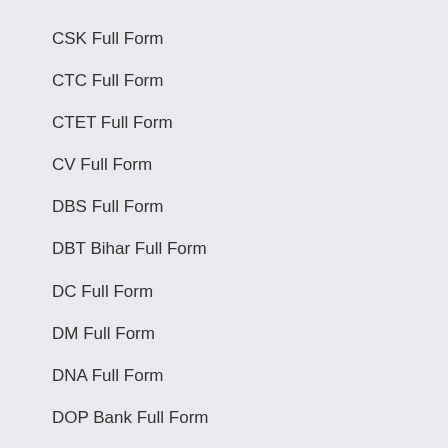CSK Full Form
CTC Full Form
CTET Full Form
CV Full Form
DBS Full Form
DBT Bihar Full Form
DC Full Form
DM Full Form
DNA Full Form
DOP Bank Full Form